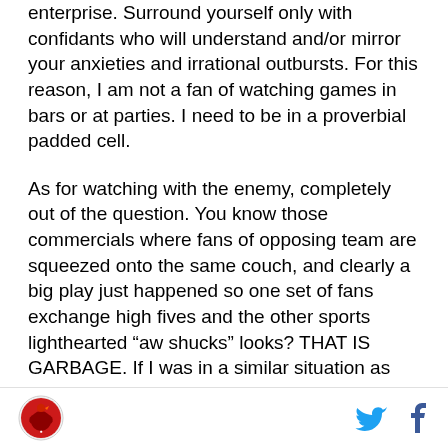enterprise. Surround yourself only with confidants who will understand and/or mirror your anxieties and irrational outbursts. For this reason, I am not a fan of watching games in bars or at parties. I need to be in a proverbial padded cell.
As for watching with the enemy, completely out of the question. You know those commercials where fans of opposing team are squeezed onto the same couch, and clearly a big play just happened so one set of fans exchange high fives and the other sports lighthearted “aw shucks” looks? THAT IS GARBAGE. If I was in a similar situation as the latter bunch, I would just sweat magma for a minute before finally roundhousing kicking the television and then spontaneously
[logo] [twitter] [facebook]